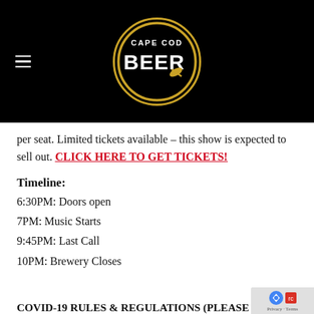[Figure (logo): Cape Cod Beer circular logo with gold border on black background, with hamburger menu icon on left]
per seat. Limited tickets available – this show is expected to sell out. CLICK HERE TO GET TICKETS!
Timeline:
6:30PM: Doors open
7PM: Music Starts
9:45PM: Last Call
10PM: Brewery Closes
COVID-19 RULES & REGULATIONS (PLEASE REA...)